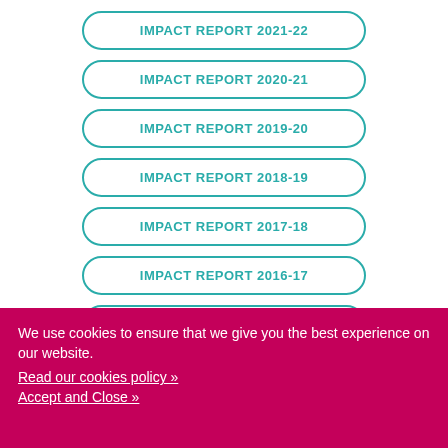IMPACT REPORT 2021-22
IMPACT REPORT 2020-21
IMPACT REPORT 2019-20
IMPACT REPORT 2018-19
IMPACT REPORT 2017-18
IMPACT REPORT 2016-17
IMPACT REPORT 2015-16
We use cookies to ensure that we give you the best experience on our website.
Read our cookies policy »
Accept and Close »